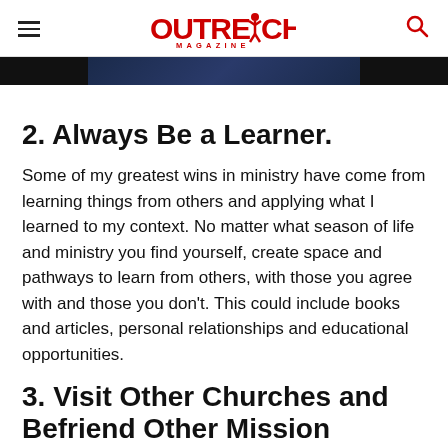Outreach Magazine
[Figure (photo): Partial image strip showing a dark photo, cropped at top of page]
2. Always Be a Learner.
Some of my greatest wins in ministry have come from learning things from others and applying what I learned to my context. No matter what season of life and ministry you find yourself, create space and pathways to learn from others, with those you agree with and those you don't. This could include books and articles, personal relationships and educational opportunities.
3. Visit Other Churches and Befriend Other Mission Pastors